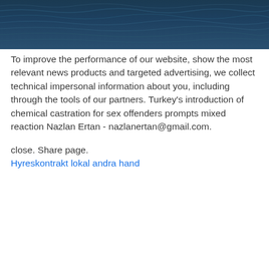[Figure (photo): Aerial view of dark blue ocean waves with rippled surface texture]
To improve the performance of our website, show the most relevant news products and targeted advertising, we collect technical impersonal information about you, including through the tools of our partners. Turkey’s introduction of chemical castration for sex offenders prompts mixed reaction Nazlan Ertan - nazlanertan@gmail.com.
close. Share page.
Hyreskontrakt lokal andra hand